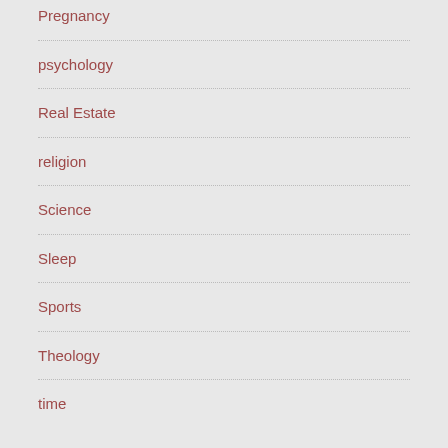Pregnancy
psychology
Real Estate
religion
Science
Sleep
Sports
Theology
time